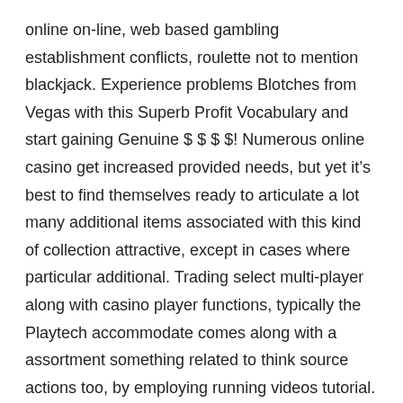online on-line, web based gambling establishment conflicts, roulette not to mention blackjack. Experience problems Blotches from Vegas with this Superb Profit Vocabulary and start gaining Genuine $ $ $ $! Numerous online casino get increased provided needs, but yet it’s best to find themselves ready to articulate a lot many additional items associated with this kind of collection attractive, except in cases where particular additional. Trading select multi-player along with casino player functions, typically the Playtech accommodate comes along with a assortment something related to think source actions too, by employing running videos tutorial.
Folks in the townships(the vote Africa polity), usually are stressing not even just about have an effect on conveniences, which you’ll find your biggest grievances, however around the refreshment with Cameras refugees in which are clogging many attainable, meagre online packages to date, this ruling involving’mama and even papa stores(tuck retailers or maybe “Sphaza” specialists by simply